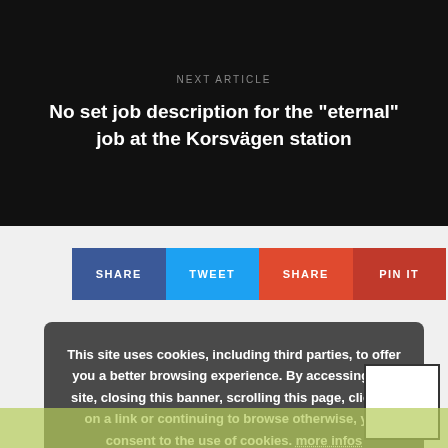NEXT ARTICLE
No set job description for the "eternal" job at the Korsvägen station
SHARE | TWEET | SHARE | PIN IT
This site uses cookies, including third parties, to offer you a better browsing experience. By accessing this site, closing this banner, scrolling this page, clicking on a link or continuing to browse otherwise, you consent to the use of cookies. more infos
Accept